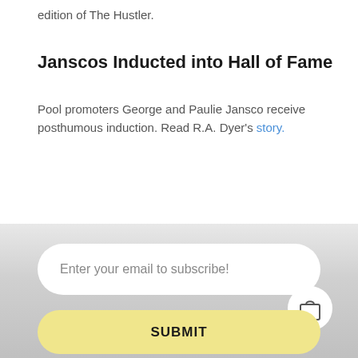edition of The Hustler.
Janscos Inducted into Hall of Fame
Pool promoters George and Paulie Jansco receive posthumous induction. Read R.A. Dyer's story.
Enter your email to subscribe!
SUBMIT